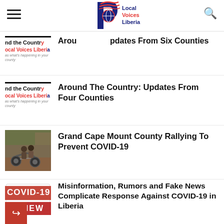Local Voices Liberia
Around The Country: Updates From Six Counties
[Figure (screenshot): Placeholder card showing 'nd the Countr / ocal Voices Liberi / as what's happening in your count' text with a black divider line above]
Around The Country: Updates From Four Counties
[Figure (photo): People riding motorcycles on a muddy road in what appears to be a West African town]
Grand Cape Mount County Rallying To Prevent COVID-19
[Figure (photo): Red COVID-19 FAKE NEWS stamp image]
Misinformation, Rumors and Fake News Complicate Response Against COVID-19 in Liberia